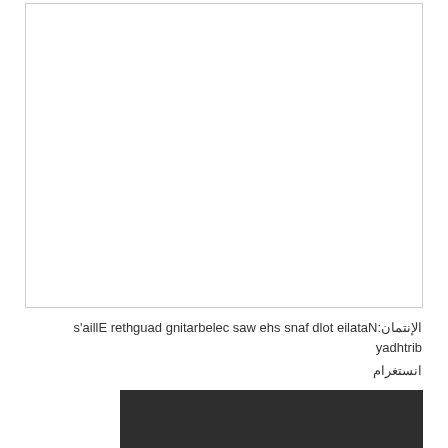[Figure (photo): White rectangular image placeholder with a light border, mostly blank/white space.]
الإنتمان:Natalie told fans she was celebrating daughter Ellia's birthday انستغرام
[Figure (photo): Dark/black rectangular image region at the bottom of the page.]